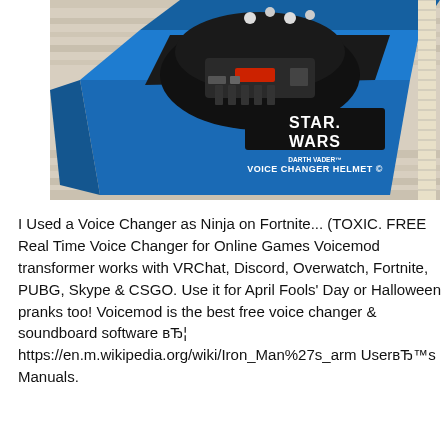[Figure (photo): Photo of a Star Wars Darth Vader Voice Changer Helmet toy in its open blue box, showing the black helmet with controls, placed on a light wooden surface with a ruler visible on the right side.]
I Used a Voice Changer as Ninja on Fortnite... (TOXIC. FREE Real Time Voice Changer for Online Games Voicemod transformer works with VRChat, Discord, Overwatch, Fortnite, PUBG, Skype & CSGO. Use it for April Fools' Day or Halloween pranks too! Voicemod is the best free voice changer & soundboard software вЂ¦ https://en.m.wikipedia.org/wiki/Iron_Man%27s_arm UserвЂ™s Manuals.